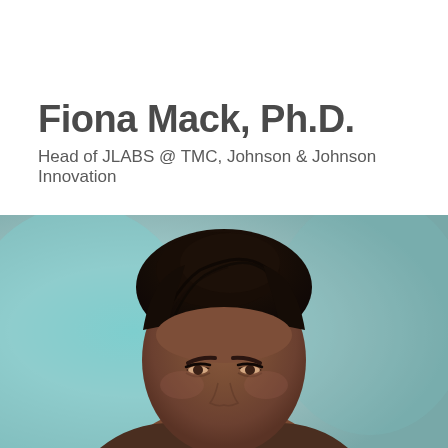Fiona Mack, Ph.D.
Head of JLABS @ TMC, Johnson & Johnson Innovation
[Figure (photo): Professional headshot portrait of Fiona Mack, Ph.D. A woman with dark upswept braided hair against a teal/blue-gray blurred background. The photo shows her face and top of head, cropped at approximately mid-face level.]